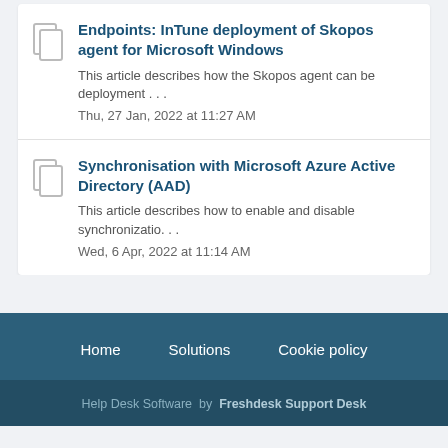Endpoints: InTune deployment of Skopos agent for Microsoft Windows
This article describes how the Skopos agent can be deployment . . .
Thu, 27 Jan, 2022 at 11:27 AM
Synchronisation with Microsoft Azure Active Directory (AAD)
This article describes how to enable and disable synchronizatio. . .
Wed, 6 Apr, 2022 at 11:14 AM
Home   Solutions   Cookie policy
Help Desk Software  by  Freshdesk Support Desk